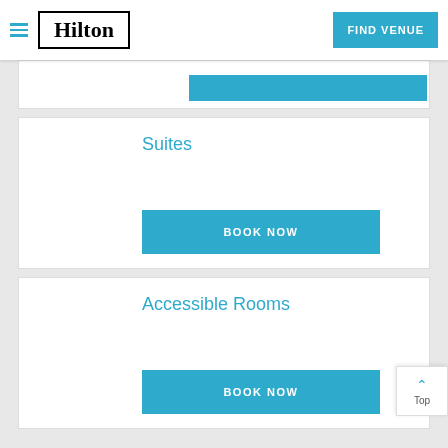[Figure (logo): Hilton hotel logo with border and hamburger menu icon, plus FIND VENUE blue button]
Suites
BOOK NOW
Accessible Rooms
BOOK NOW
Top